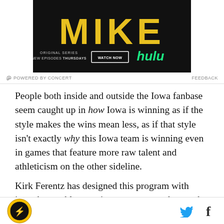[Figure (photo): Advertisement for Hulu original series 'MIKE' — black background with large yellow distressed text reading 'MIKE', tagline 'ORIGINAL SERIES NEW EPISODES THURSDAYS', a 'WATCH NOW' button, and the Hulu logo in green.]
POWERED BY CONCERT   FEEDBACK
People both inside and outside the Iowa fanbase seem caught up in how Iowa is winning as if the style makes the wins mean less, as if that style isn't exactly why this Iowa team is winning even in games that feature more raw talent and athleticism on the other sideline.
Kirk Ferentz has designed this program with interchangeable parts in an ecosystem that works in
[Figure (logo): Sports website logo — circular gold and black emblem with eagle/hawk design]